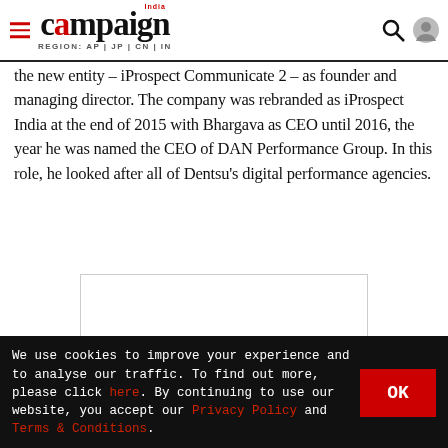campaign India — REGION: AP | JP | CN | IN
the new entity – iProspect Communicate 2 – as founder and managing director. The company was rebranded as iProspect India at the end of 2015 with Bhargava as CEO until 2016, the year he was named the CEO of DAN Performance Group. In this role, he looked after all of Dentsu's digital performance agencies.
[Figure (other): Advertisement placeholder box with white background and light gray border]
We use cookies to improve your experience and to analyse our traffic. To find out more, please click here. By continuing to use our website, you accept our Privacy Policy and Terms & Conditions.